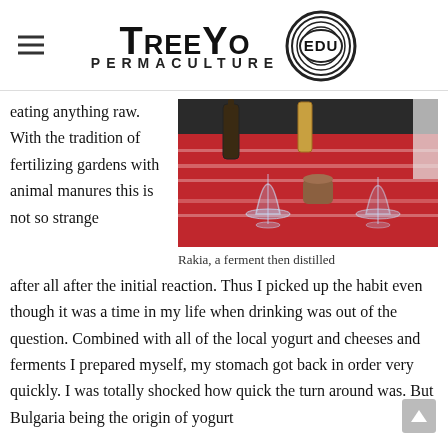TreeYo Permaculture EDU
eating anything raw.  With the tradition of fertilizing gardens with animal manures this is not so strange
[Figure (photo): Photo of a table with wine glasses, bottles and condiments on a red patterned tablecloth. Caption: Rakia, a ferment then distilled]
Rakia, a ferment then distilled
after all after the initial reaction.  Thus I picked up the habit even though it was a time in my life when drinking was out of the question.  Combined with all of the local yogurt and cheeses and ferments I prepared myself, my stomach got back in order very quickly.  I was totally shocked how quick the turn around was. But Bulgaria being the origin of yogurt